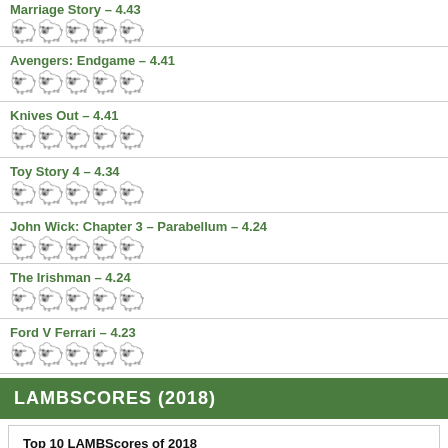Marriage Story – 4.43
Avengers: Endgame – 4.41
Knives Out – 4.41
Toy Story 4 – 4.34
John Wick: Chapter 3 – Parabellum – 4.24
The Irishman – 4.24
Ford V Ferrari – 4.23
LAMBSCORES (2018)
Top 10 LAMBScores of 2018